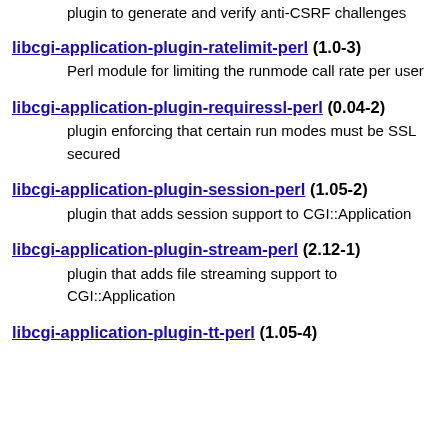plugin to generate and verify anti-CSRF challenges
libcgi-application-plugin-ratelimit-perl (1.0-3)
Perl module for limiting the runmode call rate per user
libcgi-application-plugin-requiressl-perl (0.04-2)
plugin enforcing that certain run modes must be SSL secured
libcgi-application-plugin-session-perl (1.05-2)
plugin that adds session support to CGI::Application
libcgi-application-plugin-stream-perl (2.12-1)
plugin that adds file streaming support to CGI::Application
libcgi-application-plugin-tt-perl (1.05-4)